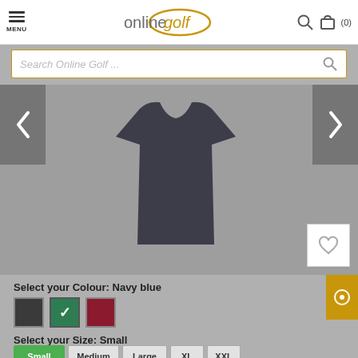MENU | onlinegolf | search icon | cart (0)
Search Online Golf ...
[Figure (photo): Navy blue golf t-shirt displayed on grey background with left and right navigation arrows and wishlist heart button]
Select your Colour: Navy blue
Select your Size: Small
Small (selected, green button)
Medium
Large
XL
XXL